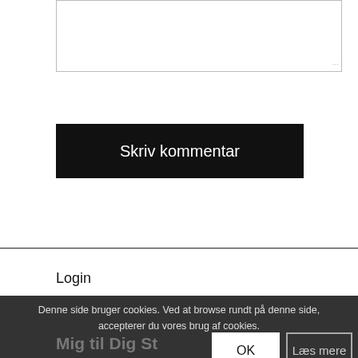[Figure (screenshot): A textarea input box with a resize handle in the bottom-right corner]
Skriv kommentar
Login
Privatlivspolitikker
Denne side bruger cookies. Ved at browse rundt på denne side, accepterer du vores brug af cookies.
OK
Læs mere
Mig til Dig St